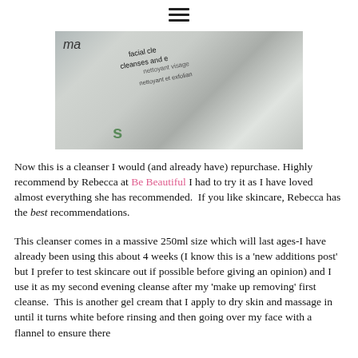≡
[Figure (photo): Photo of skincare product bottles/tubes including a facial cleanser labeled 'facial cleanser' and 'nettoyant visage', with text partially visible]
Now this is a cleanser I would (and already have) repurchase. Highly recommend by Rebecca at Be Beautiful I had to try it as I have loved almost everything she has recommended.  If you like skincare, Rebecca has the best recommendations.
This cleanser comes in a massive 250ml size which will last ages-I have already been using this about 4 weeks (I know this is a 'new additions post' but I prefer to test skincare out if possible before giving an opinion) and I use it as my second evening cleanse after my 'make up removing' first cleanse.  This is another gel cream that I apply to dry skin and massage in until it turns white before rinsing and then going over my face with a flannel to ensure there